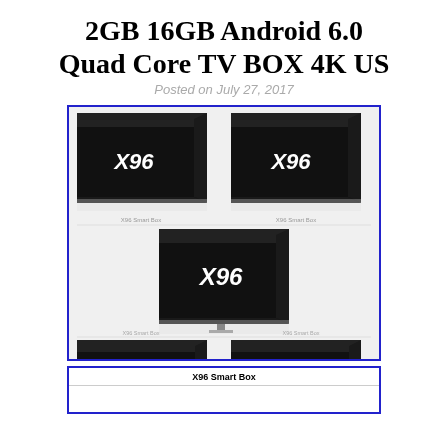2GB 16GB Android 6.0 Quad Core TV BOX 4K US
Posted on July 27, 2017
[Figure (photo): Product listing image showing five X96 Smart Box Android TV boxes arranged in a grid: two on top row, one large in the middle, two on the bottom row. eBay watermark visible. Blue border around the image area.]
| X96 Smart Box |
| --- |
|  |